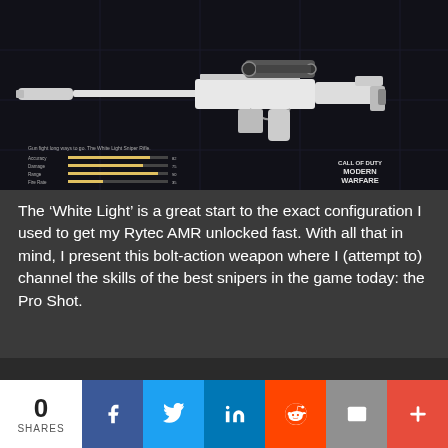[Figure (screenshot): Call of Duty Modern Warfare game screenshot showing a white sniper rifle (White Light blueprint for Rytec AMR) with stats panel and CALL OF DUTY MODERN WARFARE logo in bottom right]
The ‘White Light’ is a great start to the exact configuration I used to get my Rytec AMR unlocked fast. With all that in mind, I present this bolt-action weapon where I (attempt to) channel the skills of the best snipers in the game today: the Pro Shot.
0 SHARES | Facebook | Twitter | LinkedIn | Reddit | Email | More